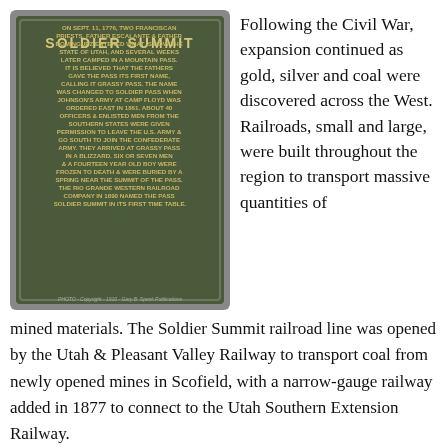[Figure (photo): A bronze or metal historical marker plaque for 'Soldier Summit' mounted on a stone or concrete surface, with embossed text describing the history of the pass from 1776 Franciscan priests through Civil War era events and the Rio Grande Western Railroad naming it Soldier Summit in 1890. Photo credit: Copyright 1910, Gary B. Speck Publications.]
Following the Civil War, expansion continued as gold, silver and coal were discovered across the West. Railroads, small and large, were built throughout the region to transport massive quantities of mined materials. The Soldier Summit railroad line was opened by the Utah & Pleasant Valley Railway to transport coal from newly opened mines in Scofield, with a narrow-gauge railway added in 1877 to connect to the Utah Southern Extension Railway.